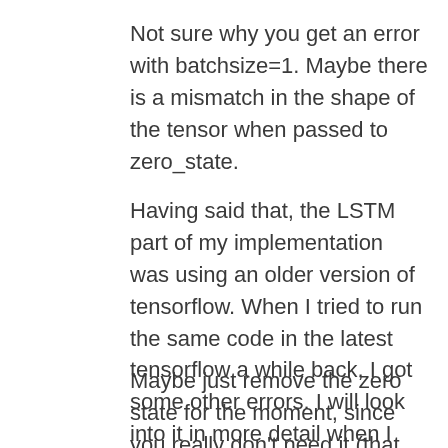Not sure why you get an error with batchsize=1. Maybe there is a mismatch in the shape of the tensor when passed to zero_state.
Having said that, the LSTM part of my implementation was using an older version of tensorflow. When I tried to run the same code in the latest tensorflow a while back, I got some other errors. I will look into it in more detail when I get the time to do it. Maybe it is related to this issue (don't remember the details now).
Maybe just remove the zero state for the moment, since you really don't need it (that term is a bias, and if you don't specify it, the weights will be initialized with zeros).